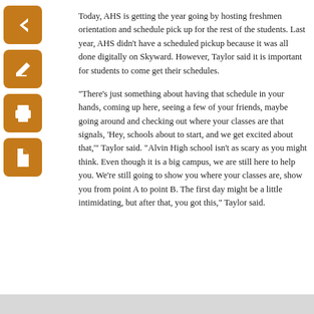[Figure (other): Orange square button with white left-arrow icon (back navigation)]
[Figure (other): Orange square button with white edit/pencil icon]
[Figure (other): Orange square button with white printer icon]
[Figure (other): Orange square button with white PDF file icon]
Today, AHS is getting the year going by hosting freshmen orientation and schedule pick up for the rest of the students. Last year, AHS didn't have a scheduled pickup because it was all done digitally on Skyward. However, Taylor said it is important for students to come get their schedules.
“There’s just something about having that schedule in your hands, coming up here, seeing a few of your friends, maybe going around and checking out where your classes are that signals, ‘Hey, schools about to start, and we get excited about that,’” Taylor said. “Alvin High school isn’t as scary as you might think. Even though it is a big campus, we are still here to help you. We’re still going to show you where your classes are, show you from point A to point B. The first day might be a little intimidating, but after that, you got this,” Taylor said.